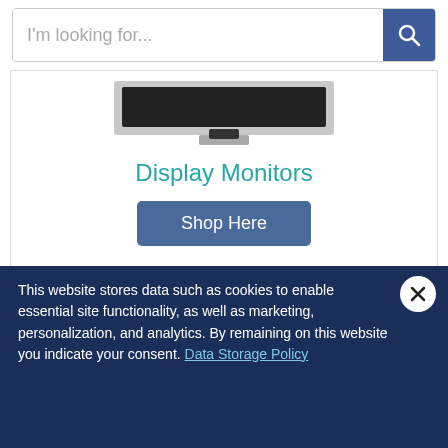[Figure (screenshot): Search bar with placeholder text 'I'm looking for...' and a blue search button with magnifying glass icon]
[Figure (photo): Partial top view of a display monitor showing the top bezel and stand]
Display Monitors
Shop Here
Video walls and advertising display monitors are designed to get your most dynamic content front and center in your most prominent business areas. Easy to use with plug-and-play content abilities and rated for continual business use, these fixtures are a no-brainer if you want to be able to easily c...
This website stores data such as cookies to enable essential site functionality, as well as marketing, personalization, and analytics. By remaining on this website you indicate your consent. Data Storage Policy